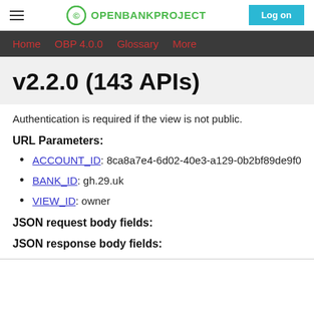OPENBANKPROJECT | Log on
Home  OBP 4.0.0  Glossary  More
v2.2.0 (143 APIs)
Authentication is required if the view is not public.
URL Parameters:
ACCOUNT_ID: 8ca8a7e4-6d02-40e3-a129-0b2bf89de9f0
BANK_ID: gh.29.uk
VIEW_ID: owner
JSON request body fields:
JSON response body fields: